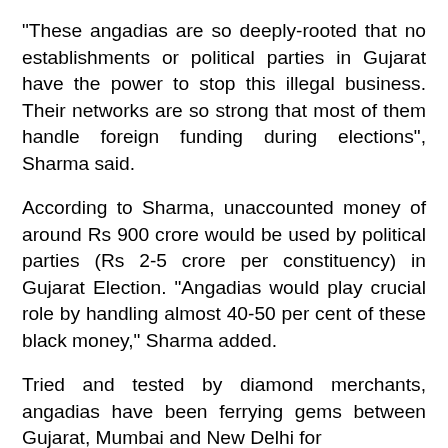"These angadias are so deeply-rooted that no establishments or political parties in Gujarat have the power to stop this illegal business. Their networks are so strong that most of them handle foreign funding during elections", Sharma said.
According to Sharma, unaccounted money of around Rs 900 crore would be used by political parties (Rs 2-5 crore per constituency) in Gujarat Election. "Angadias would play crucial role by handling almost 40-50 per cent of these black money," Sharma added.
Tried and tested by diamond merchants, angadias have been ferrying gems between Gujarat, Mumbai and New Delhi for generations. Most of them are from the...